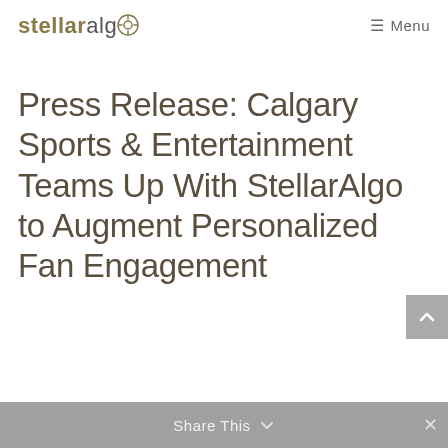stellaralgo  ≡ Menu
Press Release: Calgary Sports & Entertainment Teams Up With StellarAlgo to Augment Personalized Fan Engagement
Share This  ∨  ×